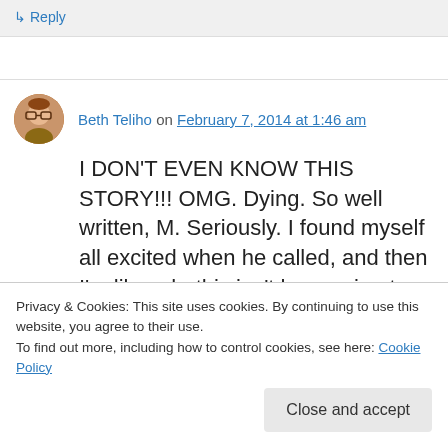↳ Reply
Beth Teliho on February 7, 2014 at 1:46 am
I DON'T EVEN KNOW THIS STORY!!! OMG. Dying. So well written, M. Seriously. I found myself all excited when he called, and then I'm like, oh, this isn't happening to you right now
Privacy & Cookies: This site uses cookies. By continuing to use this website, you agree to their use.
To find out more, including how to control cookies, see here: Cookie Policy
Close and accept
Like